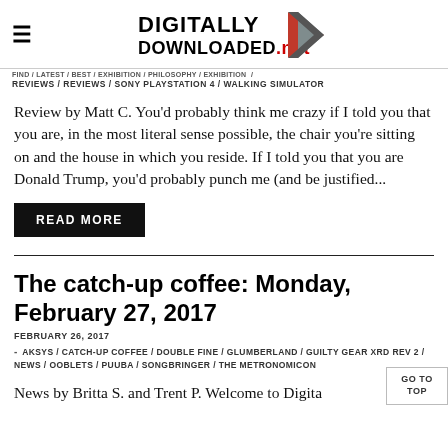Digitally Downloaded.net
FIND / LATEST / BEST / EXHIBITION / PHILOSOPHY / EXHIBITION / REVIEWS / REVIEWS / SONY PLAYSTATION 4 / WALKING SIMULATOR
Review by Matt C. You'd probably think me crazy if I told you that you are, in the most literal sense possible, the chair you're sitting on and the house in which you reside. If I told you that you are Donald Trump, you'd probably punch me (and be justified...
READ MORE
The catch-up coffee: Monday, February 27, 2017
FEBRUARY 26, 2017
AKSYS / CATCH-UP COFFEE / DOUBLE FINE / GLUMBERLAND / GUILTY GEAR XRD REV 2 / NEWS / OOBLETS / PUUBA / SONGBRINGER / THE METRONOMICON
News by Britta S. and Trent P. Welcome to Digitally Downloaded, the home of game reviews...